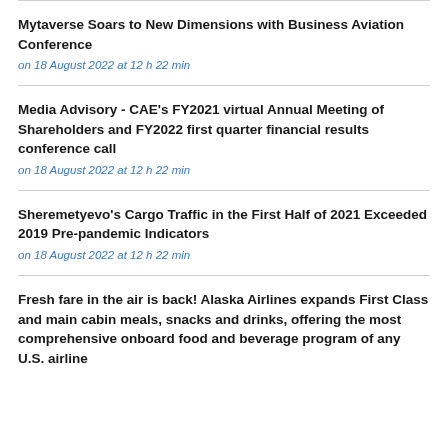Mytaverse Soars to New Dimensions with Business Aviation Conference
on 18 August 2022 at 12 h 22 min
Media Advisory - CAE's FY2021 virtual Annual Meeting of Shareholders and FY2022 first quarter financial results conference call
on 18 August 2022 at 12 h 22 min
Sheremetyevo's Cargo Traffic in the First Half of 2021 Exceeded 2019 Pre-pandemic Indicators
on 18 August 2022 at 12 h 22 min
Fresh fare in the air is back! Alaska Airlines expands First Class and main cabin meals, snacks and drinks, offering the most comprehensive onboard food and beverage program of any U.S. airline